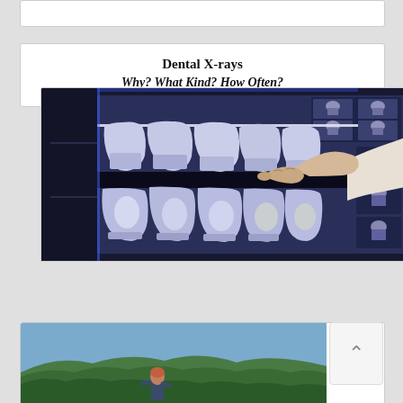[Figure (photo): Partial top of a card, cropped out of view at top of page]
[Figure (photo): Dental X-ray image displayed on a large monitor with a person's hand pointing at the teeth X-rays]
Dental X-rays
Why? What Kind? How Often?
[Figure (photo): Partial view of a person with red/auburn hair looking out over a green forested landscape]